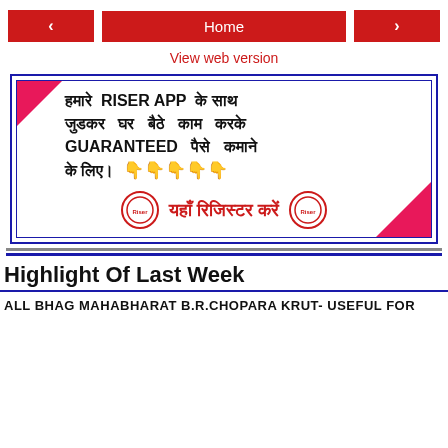< Home >
View web version
[Figure (infographic): Advertisement for Riser App in Hindi and English. Text: हमारे RISER APP के साथ जुडकर घर बैठे काम करके GUARANTEED पैसे कमाने के लिए। 👇👇👇👇👇 यहाँ रिजिस्टर करें. With two circular Riser logos on either side of the register button. Pink triangle corners on top-left and bottom-right.]
Highlight Of Last Week
ALL BHAG MAHABHARAT B.R.CHOPARA KRUT- USEFUL FOR